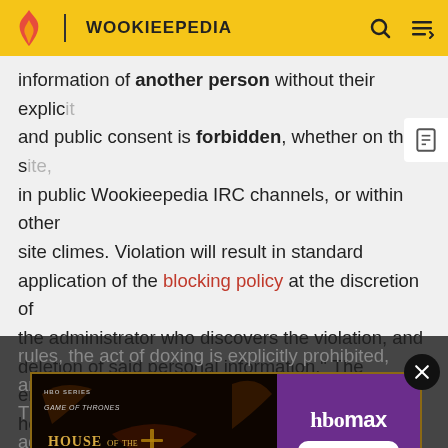WOOKIEEPEDIA
information of another person without their explicit and public consent is forbidden, whether on the site, in public Wookieepedia IRC channels, or within other site climes. Violation will result in standard application of the blocking policy at the discretion of the administrator who discovers the violation, and deletion of said personal information." The emphasis here is not my own; this wording has been used since the policy was first implemented in 2007. Under the rules, the act of doxing is explicitly prohibited, and...with. The...signing against...protect the privacy of individuals. Therefore, this proposal
[Figure (screenshot): HBO Max advertisement banner for House of the Dragon (Game of Thrones spinoff) with dark fantasy imagery on the left and HBO Max logo with SIGN UP NOW button on purple background on the right]